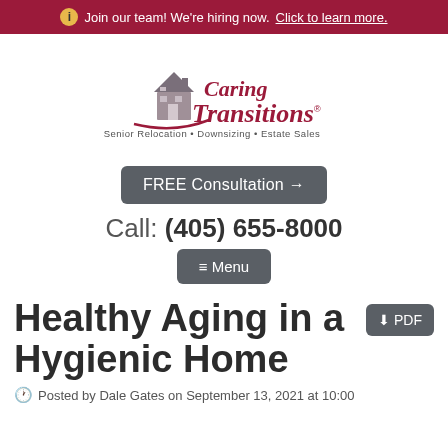ℹ Join our team! We're hiring now. Click to learn more.
[Figure (logo): Caring Transitions logo with house illustration and tagline: Senior Relocation • Downsizing • Estate Sales]
FREE Consultation →
Call: (405) 655-8000
≡ Menu
Healthy Aging in a Hygienic Home
🕐 Posted by Dale Gates on September 13, 2021 at 10:00